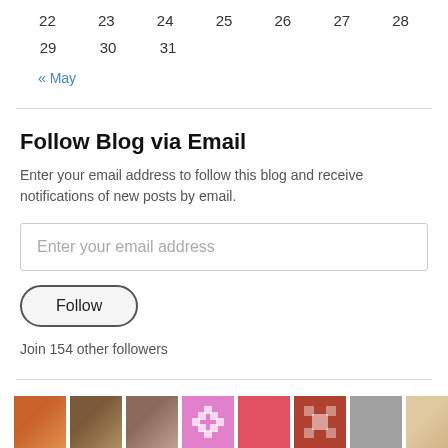| 22 | 23 | 24 | 25 | 26 | 27 | 28 |
| 29 | 30 | 31 |  |  |  |  |
« May
Follow Blog via Email
Enter your email address to follow this blog and receive notifications of new posts by email.
Enter your email address
Follow
Join 154 other followers
[Figure (photo): Strip of avatar/profile images of blog followers]